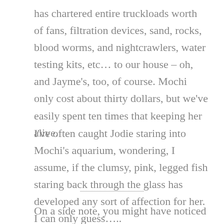has chartered entire truckloads worth of fans, filtration devices, sand, rocks, blood worms, and nightcrawlers, water testing kits, etc… to our house – oh, and Jayme's, too, of course. Mochi only cost about thirty dollars, but we've easily spent ten times that keeping her alive.
I've often caught Jodie staring into Mochi's aquarium, wondering, I assume, if the clumsy, pink, legged fish staring back through the glass has developed any sort of affection for her. I can only guess…..
On a side note, you might have noticed that my